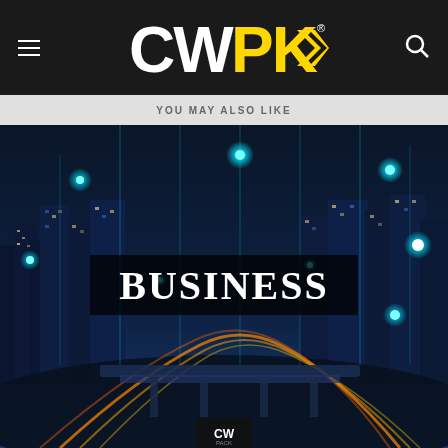CWPK
YOU MAY ALSO LIKE
[Figure (photo): Night city skyline with highway traffic light trails and glowing teal network connection dots overlaid. A dark banner in the center reads 'BUSINESS' in white serif text. A small CWPK logo appears at the bottom center.]